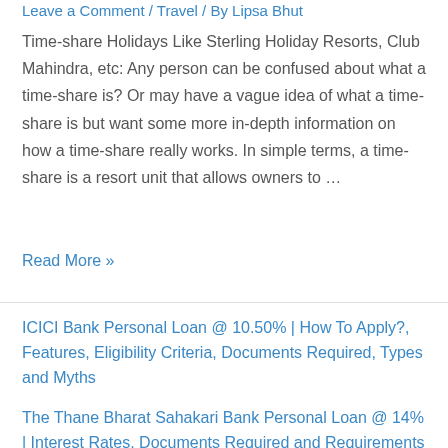Leave a Comment / Travel / By Lipsa Bhut
Time-share Holidays Like Sterling Holiday Resorts, Club Mahindra, etc: Any person can be confused about what a time-share is? Or may have a vague idea of what a time-share is but want some more in-depth information on how a time-share really works. In simple terms, a time-share is a resort unit that allows owners to …
Read More »
ICICI Bank Personal Loan @ 10.50% | How To Apply?, Features, Eligibility Criteria, Documents Required, Types and Myths
The Thane Bharat Sahakari Bank Personal Loan @ 14% | Interest Rates, Documents Required and Requirements